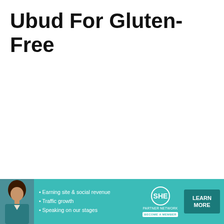Ubud For Gluten-Free
[Figure (advertisement): SHE Partner Network advertisement banner with woman photo, bullet points: Earning site & social revenue, Traffic growth, Speaking on our stages. SHE logo, LEARN MORE button, BECOME A MEMBER tag.]